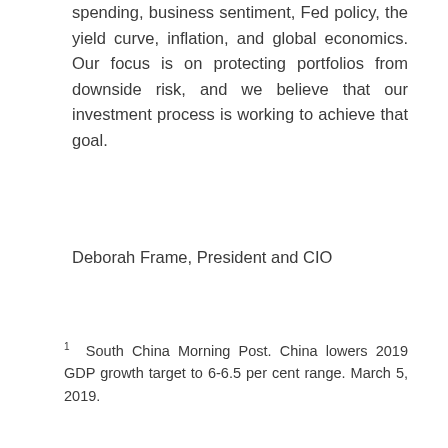spending, business sentiment, Fed policy, the yield curve, inflation, and global economics. Our focus is on protecting portfolios from downside risk, and we believe that our investment process is working to achieve that goal.
Deborah Frame, President and CIO
1  South China Morning Post. China lowers 2019 GDP growth target to 6-6.5 per cent range. March 5, 2019.